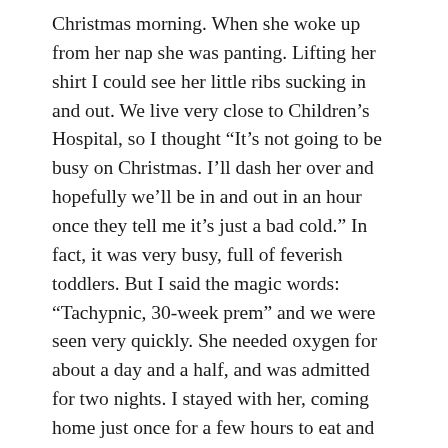Christmas morning. When she woke up from her nap she was panting. Lifting her shirt I could see her little ribs sucking in and out. We live very close to Children's Hospital, so I thought “It’s not going to be busy on Christmas. I’ll dash her over and hopefully we’ll be in and out in an hour once they tell me it’s just a bad cold.” In fact, it was very busy, full of feverish toddlers. But I said the magic words: “Tachypnic, 30-week prem” and we were seen very quickly. She needed oxygen for about a day and a half, and was admitted for two nights. I stayed with her, coming home just once for a few hours to eat and shower. Unlike the NICU, we had a private room with a cot for me, so that was good.